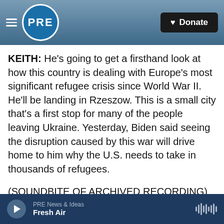[Figure (logo): PRE public radio logo and navigation header with hamburger menu, circular PRE logo, and dark Donate button with heart icon]
KEITH: He's going to get a firsthand look at how this country is dealing with Europe's most significant refugee crisis since World War II. He'll be landing in Rzeszow. This is a small city that's a first stop for many of the people leaving Ukraine. Yesterday, Biden said seeing the disruption caused by this war will drive home to him why the U.S. needs to take in thousands of refugees.
(SOUNDBITE OF ARCHIVED RECORDING)
PRESIDENT JOE BIDEN: It will reinforce my commitment to have the United States make sure
PRE News & Ideas  Fresh Air